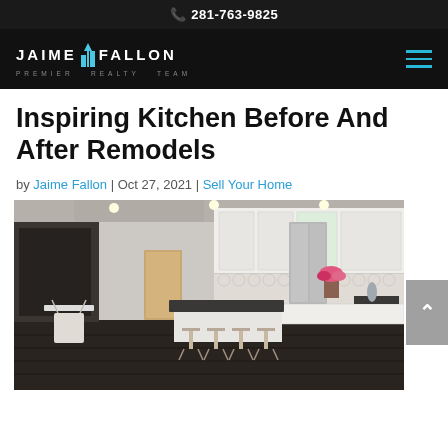281-763-9825
[Figure (logo): Jaime Fallon Premier Realty Team logo with building icon, white text on black background]
Inspiring Kitchen Before And After Remodels
by Jaime Fallon | Oct 27, 2021 | Sell Your Home
[Figure (photo): Remodeled kitchen interior with white cabinets, dark countertops, kitchen island with bar stools, patterned backsplash, dark hardwood floors, and dining area in background]